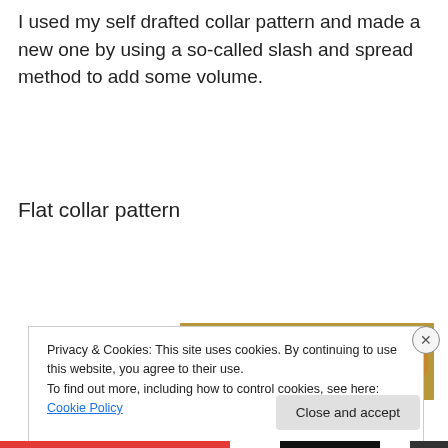I used my self drafted collar pattern and made a new one by using a so-called slash and spread method to add some volume.
Flat collar pattern
[Figure (screenshot): Advertisement banner with green gradient bar and partial photo of green fabric on a table surface.]
Privacy & Cookies: This site uses cookies. By continuing to use this website, you agree to their use.
To find out more, including how to control cookies, see here: Cookie Policy
[Figure (other): Close button 'Close and accept' in a grey rounded rectangle button.]